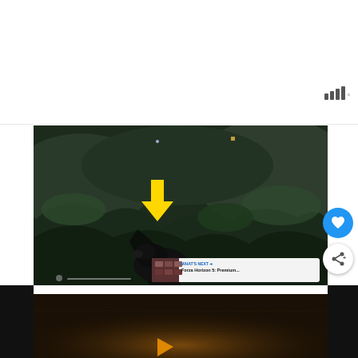[Figure (screenshot): Video game screenshot showing a dark rocky cave/cliffside environment with green mossy rocks. A black boar or large animal character is visible in the center. A bright yellow downward-pointing arrow overlays the scene indicating a direction. Small UI elements visible including a progress bar with heart icon at the bottom. A 'WHAT'S NEXT' overlay shows a thumbnail and text 'Forza Horizon 5: Premium...']
[Figure (screenshot): Partially visible second video game screenshot at the bottom showing a dark interior/wooden environment with orange/amber lighting.]